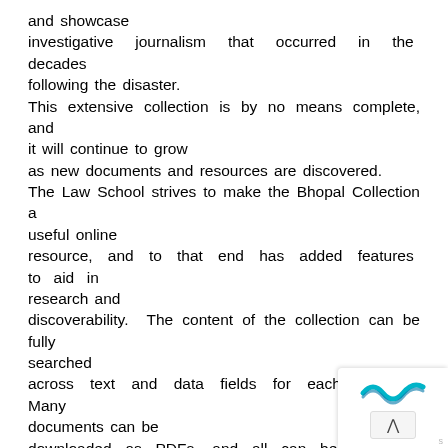and showcase investigative journalism that occurred in the decades following the disaster. This extensive collection is by no means complete, and it will continue to grow as new documents and resources are discovered. The Law School strives to make the Bhopal Collection a useful online resource, and to that end has added features to aid in research and discoverability. The content of the collection can be fully searched across text and data fields for each record. Many documents can be downloaded as PDFs, and all can be requested through the library at the